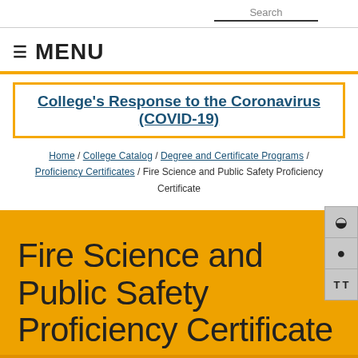Search
MENU
College's Response to the Coronavirus (COVID-19)
Home / College Catalog / Degree and Certificate Programs / Proficiency Certificates / Fire Science and Public Safety Proficiency Certificate
Fire Science and Public Safety Proficiency Certificate